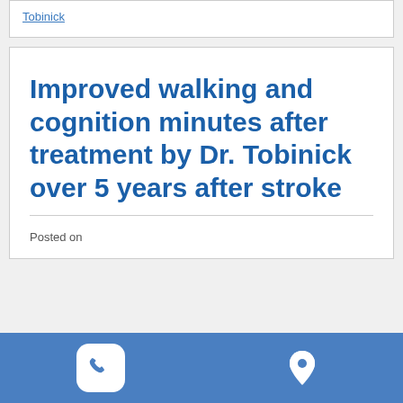Tobinick
Improved walking and cognition minutes after treatment by Dr. Tobinick over 5 years after stroke
Posted on
[Figure (infographic): Blue footer bar with white phone icon on left and white map/location pin icon on right]